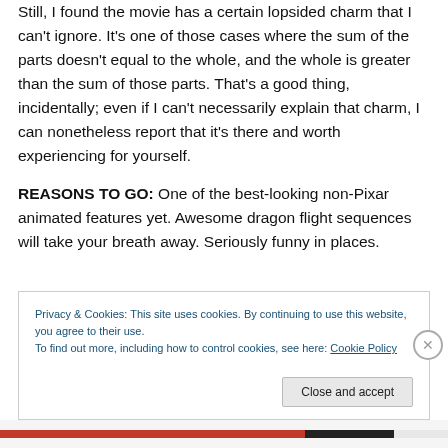Still, I found the movie has a certain lopsided charm that I can't ignore. It's one of those cases where the sum of the parts doesn't equal to the whole, and the whole is greater than the sum of those parts. That's a good thing, incidentally; even if I can't necessarily explain that charm, I can nonetheless report that it's there and worth experiencing for yourself.
REASONS TO GO: One of the best-looking non-Pixar animated features yet. Awesome dragon flight sequences will take your breath away. Seriously funny in places.
Privacy & Cookies: This site uses cookies. By continuing to use this website, you agree to their use.
To find out more, including how to control cookies, see here: Cookie Policy